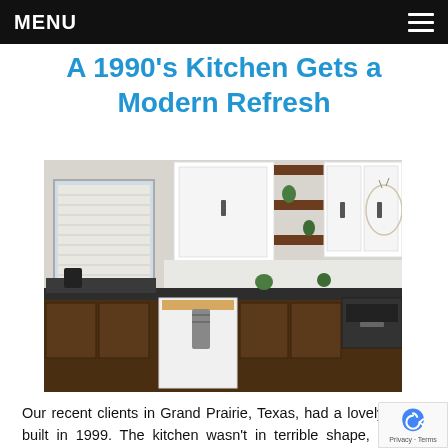MENU
A 1990's Kitchen Gets a Modern Refresh
[Figure (photo): Modern refreshed kitchen with dark wood lower cabinets, white upper cabinets with glass fronts, open shelving with plants, dark countertop, white dishwasher, and hardwood floor.]
Our recent clients in Grand Prairie, Texas, had a lovely home built in 1999. The kitchen wasn't in terrible shape, but the clients knew it was time to refresh the look and also make modifications to improve functionality. Luckily, the size and were great, so not much needed to be done structurally to the